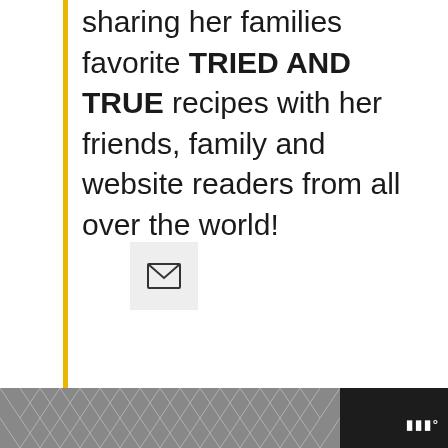sharing her families favorite TRIED AND TRUE recipes with her friends, family and website readers from all over the world!
[Figure (other): Email envelope icon button on light gray background]
4 Comments
Leave your reply.
[Figure (other): Geometric hexagon/chevron pattern on dark background with brand logo]